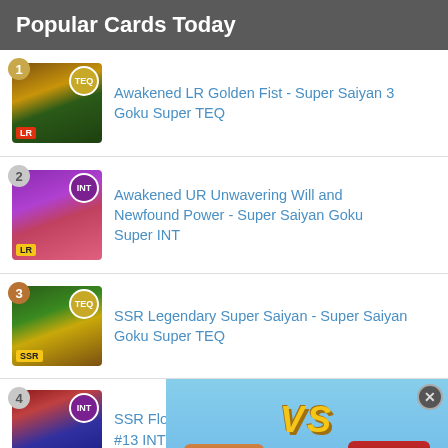Popular Cards Today
Awakened LR Golden Fist - Super Saiyan 3 Goku Super TEQ
Awakened UR Unwavering Will and Newfound Power - Super Saiyan Goku Super INT
SSR Legendary Super Saiyan - Super Saiyan Goku Super TEQ
SSR Flouting Objective… #13 INT
SSR Dreadful Fusion -
[Figure (screenshot): Video overlay showing two basketball players (one in red Cavaliers jersey #23) with VS text, partially covering the list]